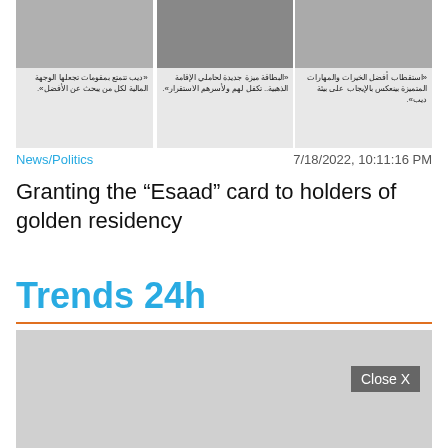[Figure (photo): Three person portrait photos with Arabic captions below each]
News/Politics
7/18/2022, 10:11:16 PM
Granting the “Esaad” card to holders of golden residency
Trends 24h
[Figure (photo): Placeholder image area with Close X button overlay]